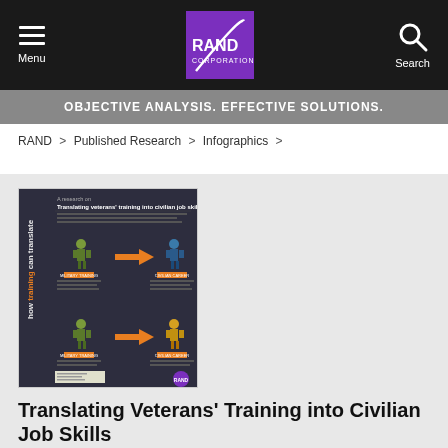Menu | RAND Corporation | Search
OBJECTIVE ANALYSIS. EFFECTIVE SOLUTIONS.
RAND > Published Research > Infographics >
[Figure (infographic): Infographic thumbnail showing 'Translating veterans' training into civilian job skills' with illustrated figures of military and civilian personnel connected by orange arrows, with 'how training can translate' text on the left side.]
Translating Veterans' Training into Civilian Job Skills